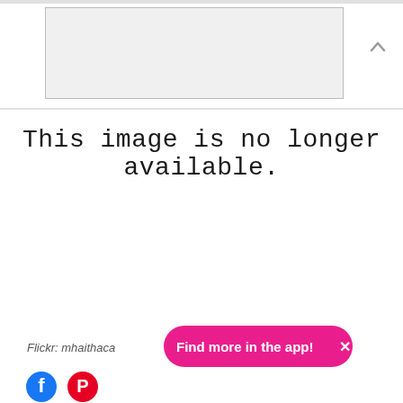[Figure (other): Placeholder image box with grey dot/pin pattern indicating unavailable image]
This image is no longer available.
Flickr: mhaithaca
Find more in the app!  ×